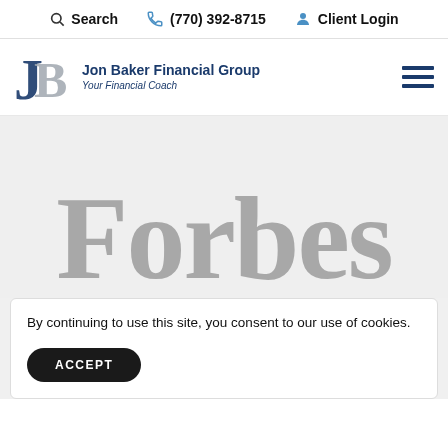Search  (770) 392-8715  Client Login
[Figure (logo): Jon Baker Financial Group logo — stylized JB monogram in dark blue and gray, with text 'Jon Baker Financial Group / Your Financial Coach']
[Figure (logo): Forbes magazine logo in large gray serif text]
By continuing to use this site, you consent to our use of cookies.
ACCEPT